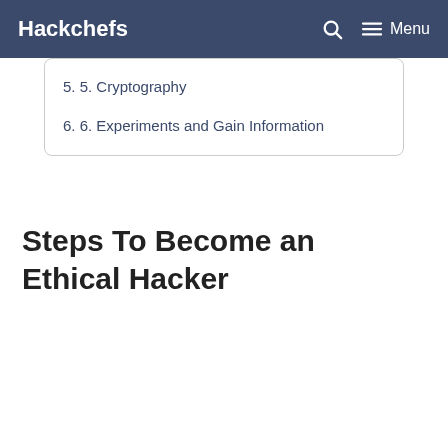Hackchefs
5. 5. Cryptography
6. 6. Experiments and Gain Information
Steps To Become an Ethical Hacker